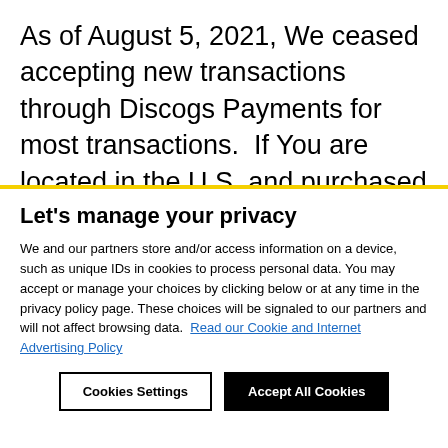As of August 5, 2021, We ceased accepting new transactions through Discogs Payments for most transactions.  If You are located in the U.S. and purchased or sold items using the Service and selected Discogs Payments as Your payment processor, You were contracting directly with Zink Media, LLC (Discogs) (State of Oregon Limited Liability Company
Let's manage your privacy
We and our partners store and/or access information on a device, such as unique IDs in cookies to process personal data. You may accept or manage your choices by clicking below or at any time in the privacy policy page. These choices will be signaled to our partners and will not affect browsing data.  Read our Cookie and Internet Advertising Policy